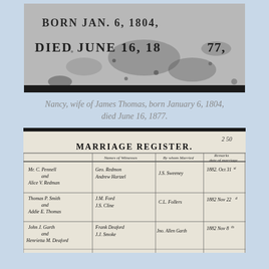[Figure (photo): Close-up photograph of a gravestone inscription reading 'BORN JAN. 6 1804 DIED JUNE 16, 1877', weathered stone surface with dark marks.]
Nancy, wife of James Thomas, born January 6, 1804, died June 16, 1877.
[Figure (photo): Photograph of a handwritten Marriage Register document showing entries for: Mr. C. Pennell and Alice V. Redman (Witnesses: Geo. Redmon, Andrew Hartzel; Married by: J.S. Sweeney; Date: 1882 Oct 31st); Thomas P. Smith and Addie E. Thomas (Witnesses: J.M. Ford, J.S. Cline; Married by: C.L. Follers; Date: 1882 Nov 22d); John J. Garth and Henrietta M. Deaford (Witnesses: Frank Deaford, J.J. Smoke; Married by: Jno. Allen Garth; Date: 1882 Nov 8th).]